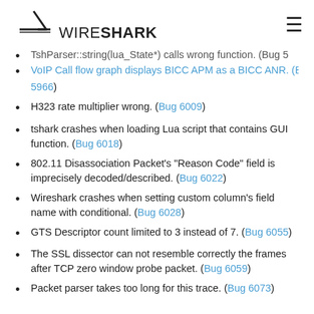WIRESHARK
TshParser::string(lua_State*) calls wrong function. (Bug 5966) [partial, cut off at top]
VoIP Call flow graph displays BICC APM as a BICC ANR. (Bug 5966) [partial, cut off]
H323 rate multiplier wrong. (Bug 6009)
tshark crashes when loading Lua script that contains GUI function. (Bug 6018)
802.11 Disassociation Packet's "Reason Code" field is imprecisely decoded/described. (Bug 6022)
Wireshark crashes when setting custom column's field name with conditional. (Bug 6028)
GTS Descriptor count limited to 3 instead of 7. (Bug 6055)
The SSL dissector can not resemble correctly the frames after TCP zero window probe packet. (Bug 6059)
Packet parser takes too long for this trace. (Bug 6073)